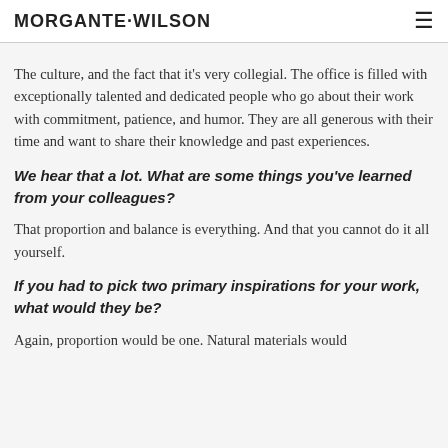MORGANTE·WILSON
The culture, and the fact that it's very collegial. The office is filled with exceptionally talented and dedicated people who go about their work with commitment, patience, and humor. They are all generous with their time and want to share their knowledge and past experiences.
We hear that a lot. What are some things you've learned from your colleagues?
That proportion and balance is everything. And that you cannot do it all yourself.
If you had to pick two primary inspirations for your work, what would they be?
Again, proportion would be one. Natural materials would